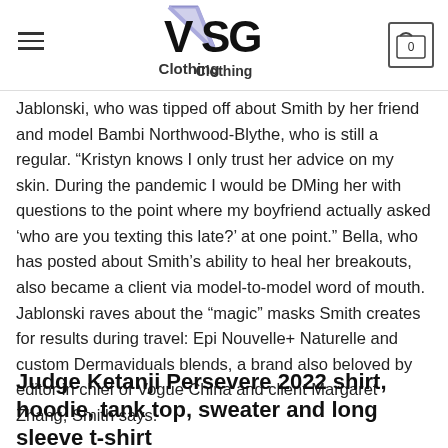VSG Clothing
Jablonski, who was tipped off about Smith by her friend and model Bambi Northwood-Blythe, who is still a regular. “Kristyn knows I only trust her advice on my skin. During the pandemic I would be DMing her with questions to the point where my boyfriend actually asked ‘who are you texting this late?’ at one point.” Bella, who has posted about Smith’s ability to heal her breakouts, also became a client via model-to-model word of mouth. Jablonski raves about the “magic” masks Smith creates for results during travel: Epi Nouvelle+ Naturelle and custom Dermaviduals blends, a brand also beloved by editor in chief of Vogue China and client Margaret Zhang, Smith says.
Judge Ketanji Persevere 2022 shirt, hoodie, tank top, sweater and long sleeve t-shirt